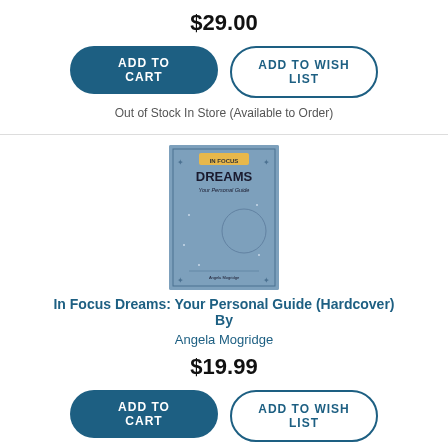$29.00
ADD TO CART
ADD TO WISH LIST
Out of Stock In Store (Available to Order)
[Figure (photo): Book cover of 'In Focus Dreams: Your Personal Guide' with a blue background featuring a crescent moon and star design]
In Focus Dreams: Your Personal Guide (Hardcover)
By Angela Mogridge
$19.99
ADD TO CART
ADD TO WISH LIST
Out of Stock In Store (Available to Order)
[Figure (photo): Partial book cover visible at bottom of page, dark/black cover]